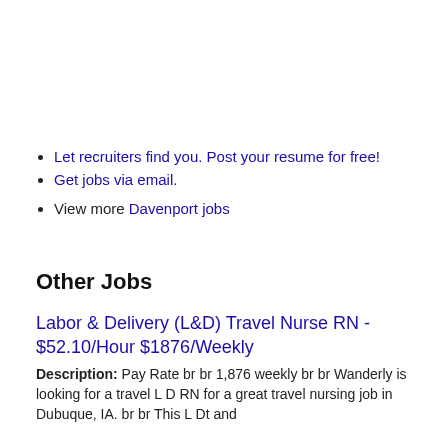Let recruiters find you. Post your resume for free!
Get jobs via email.
View more Davenport jobs
Other Jobs
Labor & Delivery (L&D) Travel Nurse RN - $52.10/Hour $1876/Weekly
Description: Pay Rate br br 1,876 weekly br br Wanderly is looking for a travel L D RN for a great travel nursing job in Dubuque, IA. br br This L Dt and